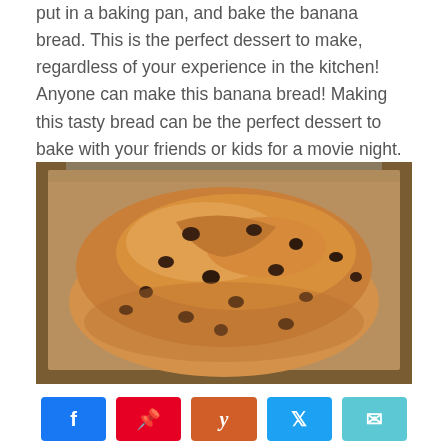put in a baking pan, and bake the banana bread. This is the perfect dessert to make, regardless of your experience in the kitchen! Anyone can make this banana bread! Making this tasty bread can be the perfect dessert to bake with your friends or kids for a movie night. It is so easy to make!
[Figure (photo): A close-up photo of a freshly baked banana chocolate chip bread loaf in a metal baking pan, sitting on a wooden surface.]
Share buttons: Facebook, Pinterest, Yummly, Twitter, Email